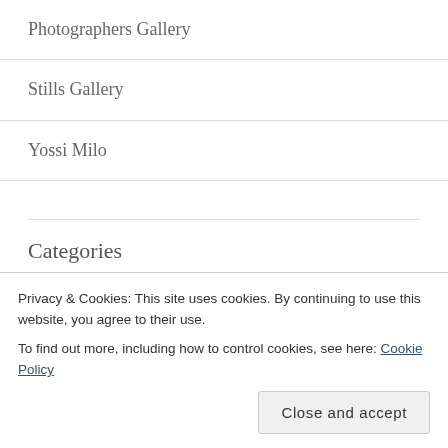Photographers Gallery
Stills Gallery
Yossi Milo
Categories
Artists, photographers
Commentary
Privacy & Cookies: This site uses cookies. By continuing to use this website, you agree to their use.
To find out more, including how to control cookies, see here: Cookie Policy
Close and accept